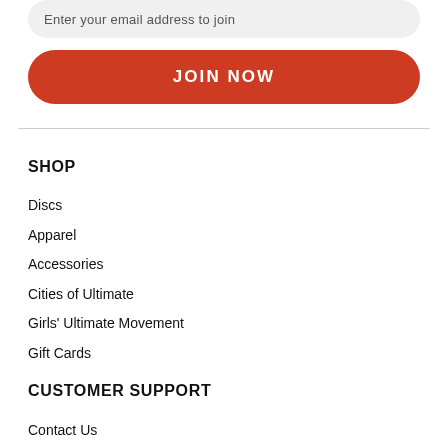Enter your email address to join
JOIN NOW
SHOP
Discs
Apparel
Accessories
Cities of Ultimate
Girls' Ultimate Movement
Gift Cards
CUSTOMER SUPPORT
Contact Us